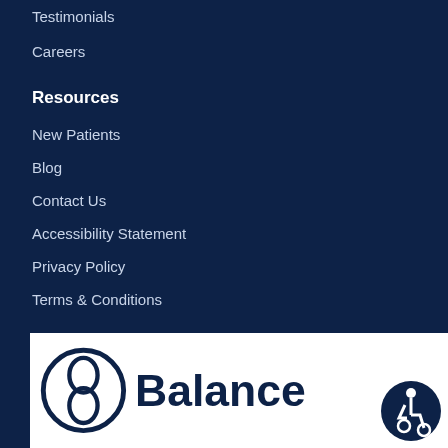Testimonials
Careers
Resources
New Patients
Blog
Contact Us
Accessibility Statement
Privacy Policy
Terms & Conditions
[Figure (logo): Balance logo with circular snake/caduceus icon and the word 'Balance' in dark navy text on white background, with an accessibility icon in the bottom right corner]